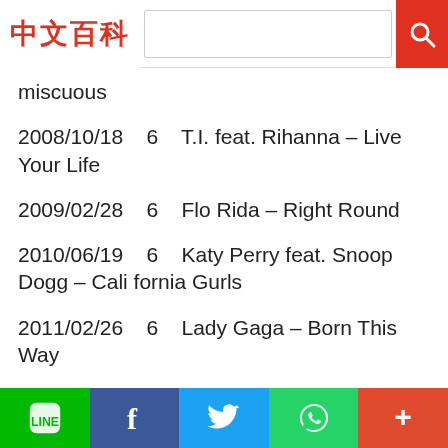中文百科 [search bar]
miscuous
2008/10/18   6   T.I. feat. Rihanna – Live Your Life
2009/02/28   6   Flo Rida – Right Round
2010/06/19   6   Katy Perry feat. Snoop Dogg – California Gurls
2011/02/26   6   Lady Gaga – Born This Way
2011/07/16   6   LMFAO feat. Lauren Bennett and GoonRock – Party Rock Anthem
2012/02/17   6   Fun. feat. Janelle Monée – We Are
Social share bar: LINE, Facebook, Twitter, WhatsApp, More